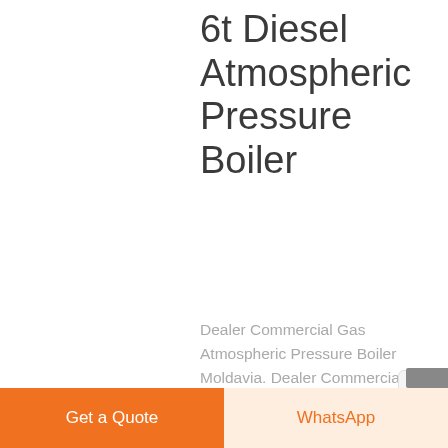6t Diesel Atmospheric Pressure Boiler
Dealer Commercial Gas Atmospheric Pressure Boiler Moldavia. Dealer Commercial Gas Atmospheric Pressure Boiler Moldavia Gas Fired Boilers Dealer In Europe - ANCHORAGE COTTAGE Heating Natural Vacuum Water Tube In